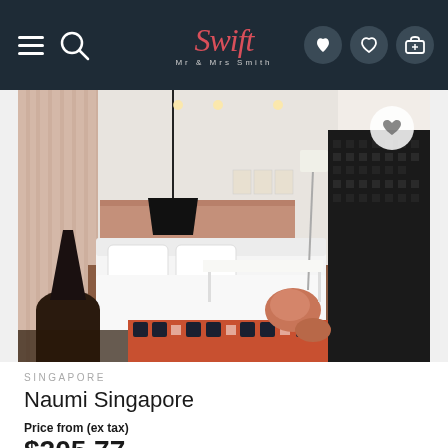Mr & Mrs Smith — Navigation bar
[Figure (photo): Hotel room interior photo showing a luxurious bedroom at Naumi Singapore. The room features a large white-sheeted bed with orange/salmon headboard, a dramatic black pendant lamp, colorful orange and navy patterned rug, an ornate coral-colored sculptural chair, a floor lamp with white shade, white walls, white curtains, and dark decorative screen on the right side.]
SINGAPORE
Naumi Singapore
Price from (ex tax)
$205.77
Best-price guarantee